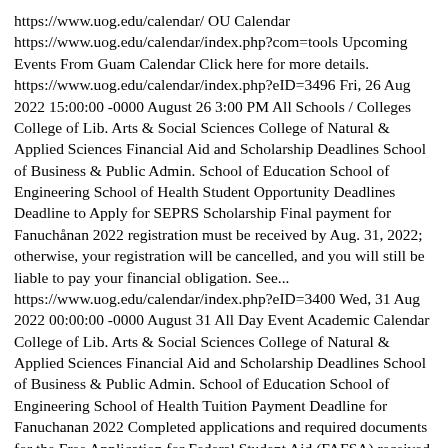https://www.uog.edu/calendar/ OU Calendar https://www.uog.edu/calendar/index.php?com=tools Upcoming Events From Guam Calendar Click here for more details. https://www.uog.edu/calendar/index.php?eID=3496 Fri, 26 Aug 2022 15:00:00 -0000 August 26 3:00 PM All Schools / Colleges College of Lib. Arts & Social Sciences College of Natural & Applied Sciences Financial Aid and Scholarship Deadlines School of Business & Public Admin. School of Education School of Engineering School of Health Student Opportunity Deadlines Deadline to Apply for SEPRS Scholarship Final payment for Fanuchånan 2022 registration must be received by Aug. 31, 2022; otherwise, your registration will be cancelled, and you will still be liable to pay your financial obligation. See... https://www.uog.edu/calendar/index.php?eID=3400 Wed, 31 Aug 2022 00:00:00 -0000 August 31 All Day Event Academic Calendar College of Lib. Arts & Social Sciences College of Natural & Applied Sciences Financial Aid and Scholarship Deadlines School of Business & Public Admin. School of Education School of Engineering School of Health Tuition Payment Deadline for Fanuchanan 2022 Completed applications and required documents for the Free Application for Federal Student Aid (FAFSA) received before April 30 shall be considered first priority for aid processing for the coming... https://www.uog.edu/calendar/index.php?eID=3412 Sun, 30 Apr 2023 00:00:00 -0000 April 30 All Day Event Academic Calendar All Schools / Colleges College of Lib.